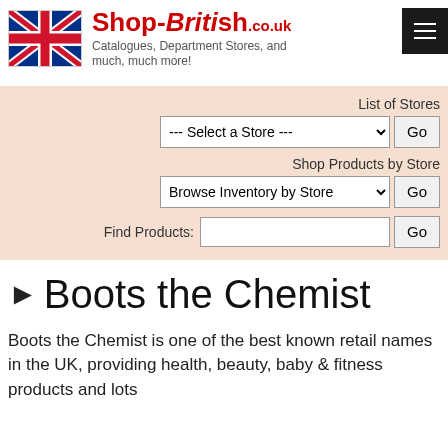[Figure (logo): Shop-British.co.uk logo with UK flag image and brand name in red bold text, tagline: Catalogues, Department Stores, and much, much more!]
List of Stores
--- Select a Store ---
Shop Products by Store
Browse Inventory by Store
Find Products:
Boots the Chemist
Boots the Chemist is one of the best known retail names in the UK, providing health, beauty, baby & fitness products and lots